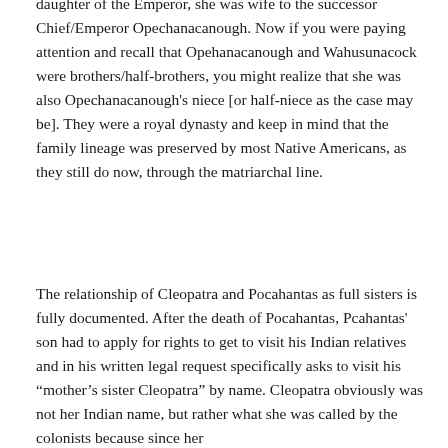daughter of the Emperor, she was wife to the successor Chief/Emperor Opechanacanough. Now if you were paying attention and recall that Opehanacanough and Wahusunacock were brothers/half-brothers, you might realize that she was also Opechanacanough's niece [or half-niece as the case may be]. They were a royal dynasty and keep in mind that the family lineage was preserved by most Native Americans, as they still do now, through the matriarchal line.
The relationship of Cleopatra and Pocahantas as full sisters is fully documented. After the death of Pocahantas, Pcahantas' son had to apply for rights to get to visit his Indian relatives and in his written legal request specifically asks to visit his "mother's sister Cleopatra" by name. Cleopatra obviously was not her Indian name, but rather what she was called by the colonists because since her